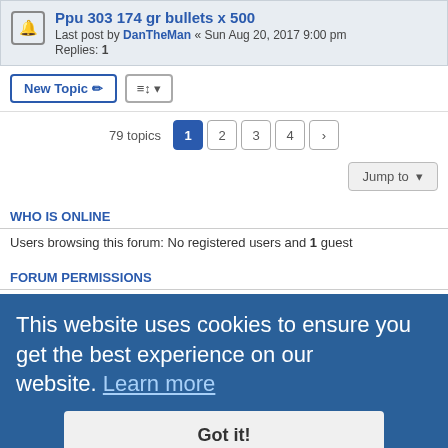Ppu 303 174 gr bullets x 500 — Last post by DanTheMan « Sun Aug 20, 2017 9:00 pm — Replies: 1
New Topic | Sort | 79 topics — Page 1 2 3 4 >
Jump to
WHO IS ONLINE
Users browsing this forum: No registered users and 1 guest
FORUM PERMISSIONS
You cannot post new topics in this forum
You cannot reply to topics in this forum
You cannot edit your posts in this forum
You cannot delete your posts in this forum
This website uses cookies to ensure you get the best experience on our website. Learn more
Got it!
Show Registration Code
All times are UTC
Style developer by Zuma Portal Updated by: ProskBet © | Powered by phpBB® Forum Software © phpBB Limited | Privacy | Terms